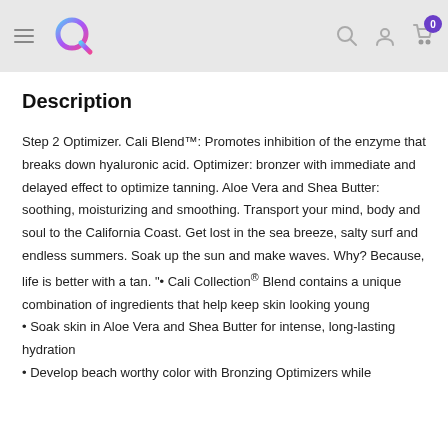Navigation header with logo, search, account, and cart icons
Description
Step 2 Optimizer. Cali Blend™: Promotes inhibition of the enzyme that breaks down hyaluronic acid. Optimizer: bronzer with immediate and delayed effect to optimize tanning. Aloe Vera and Shea Butter: soothing, moisturizing and smoothing. Transport your mind, body and soul to the California Coast. Get lost in the sea breeze, salty surf and endless summers. Soak up the sun and make waves. Why? Because, life is better with a tan. "• Cali Collection® Blend contains a unique combination of ingredients that help keep skin looking young
• Soak skin in Aloe Vera and Shea Butter for intense, long-lasting hydration
• Develop beach worthy color with Bronzing Optimizers while